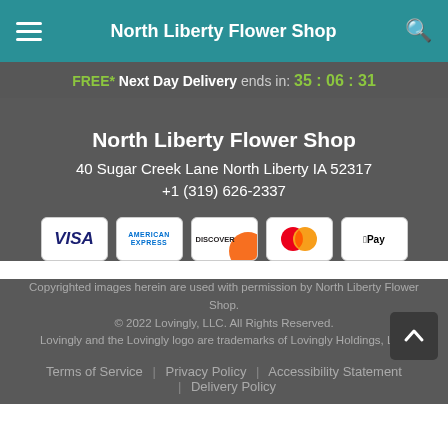North Liberty Flower Shop
FREE* Next Day Delivery ends in: 35:06:31
North Liberty Flower Shop
40 Sugar Creek Lane North Liberty IA 52317
+1 (319) 626-2337
[Figure (other): Payment method icons: VISA, American Express, Discover, Mastercard, Apple Pay]
Copyrighted images herein are used with permission by North Liberty Flower Shop. © 2022 Lovingly, LLC. All Rights Reserved. Lovingly and the Lovingly logo are trademarks of Lovingly Holdings, LLC
Terms of Service | Privacy Policy | Accessibility Statement | Delivery Policy